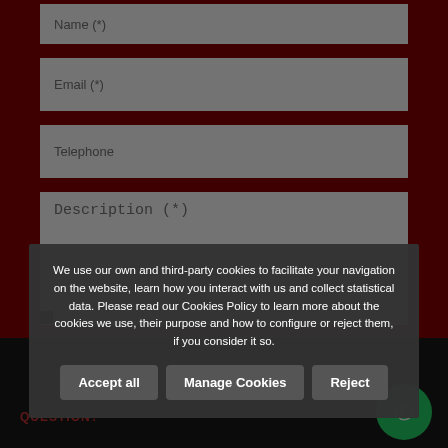Name (*)
Email (*)
Telephone
Description (*)
When you press the button "SEND" you confirm you've read our privacy policy and you know how we'll handle your data.
QUESTION?
We use our own and third-party cookies to facilitate your navigation on the website, learn how you interact with us and collect statistical data. Please read our Cookies Policy to learn more about the cookies we use, their purpose and how to configure or reject them, if you consider it so.
Accept all
Manage Cookies
Reject